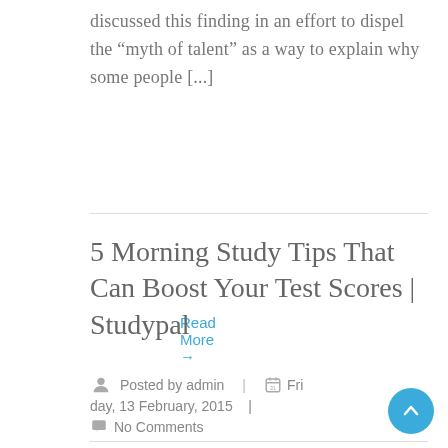discussed this finding in an effort to dispel the “myth of talent” as a way to explain why some people [...]
Read More →
5 Morning Study Tips That Can Boost Your Test Scores | Studypal
Posted by admin  |  Friday, 13 February, 2015  |  No Comments